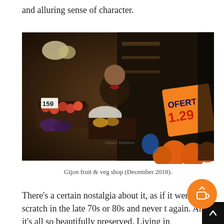and alluring sense of character.
[Figure (photo): A fruit and vegetable shop vendor working among colorful produce displays with price tags including '159' and an orange sign reading 'OFERT 1.29'. The scene is dimly lit and busy with crates of fruits and vegetables.]
Gijon fruit & veg shop (December 2018).
There's a certain nostalgia about it, as if it were from scratch in the late 70s or 80s and never t again. And it's all so beautifully preserved. Living in